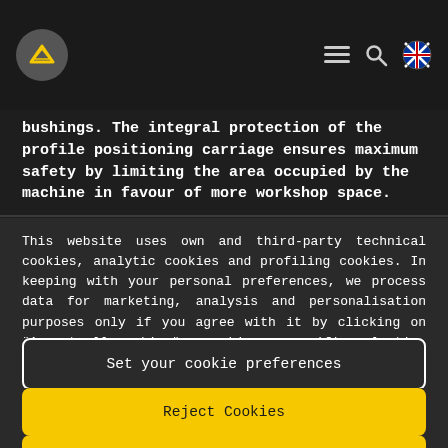[Figure (logo): Circular logo with upward arrow/chevron icon on dark background, navigation bar with hamburger menu, search, and UK flag icons]
bushings. The integral protection of the profile positioning carriage ensures maximum safety by limiting the area occupied by the machine in favour of more workshop space.
This website uses own and third-party technical cookies, analytic cookies and profiling cookies. In keeping with your personal preferences, we process data for marketing, analysis and personalisation purposes only if you agree with it by clicking on ¨Accept all cookies¨ or making a specific selection using the ¨Set your cookie preferences¨ button. To read the full cookie policy, withdraw your consent or change your preferences, click here
Set your cookie preferences
Reject Cookies
Accept all cookies